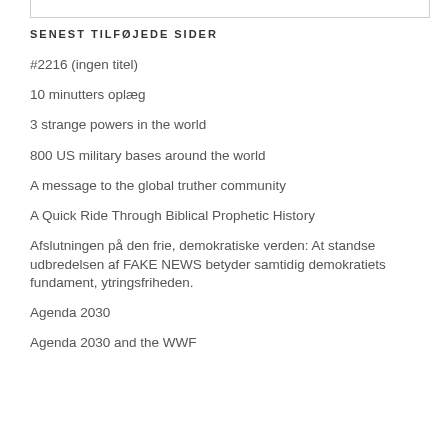SENEST TILFØJEDE SIDER
#2216 (ingen titel)
10 minutters oplæg
3 strange powers in the world
800 US military bases around the world
A message to the global truther community
A Quick Ride Through Biblical Prophetic History
Afslutningen på den frie, demokratiske verden: At standse udbredelsen af FAKE NEWS betyder samtidig demokratiets fundament, ytringsfriheden.
Agenda 2030
Agenda 2030 and the WWF